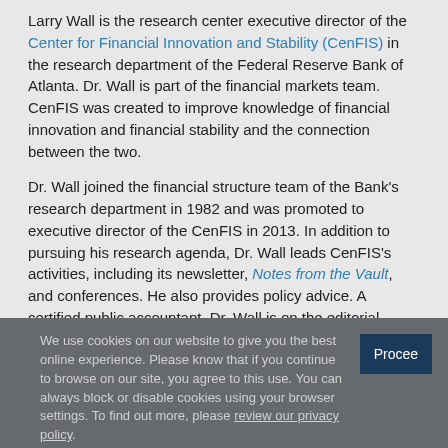Larry Wall is the research center executive director of the Center for Financial Innovation and Stability (CenFIS) in the research department of the Federal Reserve Bank of Atlanta. Dr. Wall is part of the financial markets team. CenFIS was created to improve knowledge of financial innovation and financial stability and the connection between the two.
Dr. Wall joined the financial structure team of the Bank's research department in 1982 and was promoted to executive director of the CenFIS in 2013. In addition to pursuing his research agenda, Dr. Wall leads CenFIS's activities, including its newsletter, Notes from the Vault, and conferences. He also provides policy advice. A certified public accountant, Dr. Wall is on the editorial boards of the Financial Review, Journal of Financial Research, Journal of Financial Services Research, Journal of Financial Stability, and Review of Financial Economics. Dr. Wall is also on the Academic Advisory Panel for the International Association of Deposit Insurers. He is a past president and chairman of
We use cookies on our website to give you the best online experience. Please know that if you continue to browse on our site, you agree to this use. You can always block or disable cookies using your browser settings. To find out more, please review our privacy policy.